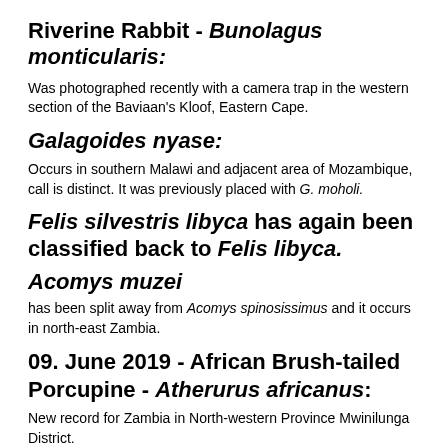Riverine Rabbit - Bunolagus monticularis:
Was photographed recently with a camera trap in the western section of the Baviaan's Kloof, Eastern Cape.
Galagoides nyase:
Occurs in southern Malawi and adjacent area of Mozambique, call is distinct. It was previously placed with G. moholi.
Felis silvestris libyca has again been classified back to Felis libyca.
Acomys muzei
has been split away from Acomys spinosissimus and it occurs in north-east Zambia.
09. June 2019 - African Brush-tailed Porcupine - Atherurus africanus:
New record for Zambia in North-western Province Mwinilunga District.